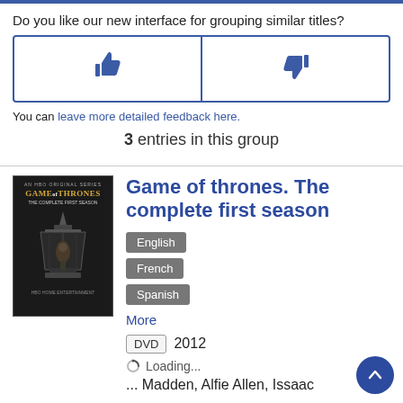Do you like our new interface for grouping similar titles?
[Figure (other): Thumbs up and thumbs down feedback buttons in a bordered box]
You can leave more detailed feedback here.
3 entries in this group
[Figure (photo): Game of Thrones The Complete First Season DVD cover showing Iron Throne]
Game of thrones. The complete first season
English
French
Spanish
More
DVD  2012
Loading...
... Madden, Alfie Allen, Issaac